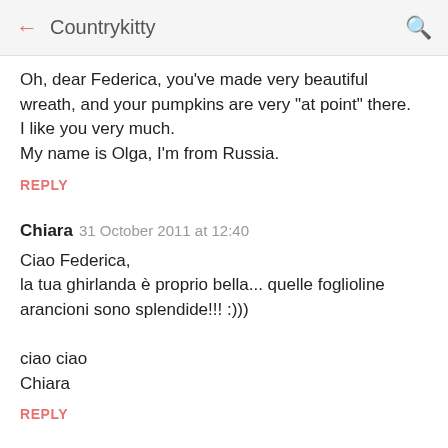← Countrykitty 🔍
Oh, dear Federica, you've made very beautiful wreath, and your pumpkins are very "at point" there.
I like you very much.
My name is Olga, I'm from Russia.
REPLY
Chiara  31 October 2011 at 12:40
Ciao Federica,
la tua ghirlanda è proprio bella... quelle foglioline arancioni sono splendide!!! :)))

ciao ciao
Chiara
REPLY
claudia.candy1975  31 October 2011 at 13:28
Ecco a cosa servivano le foglie che preparavi l'altro...